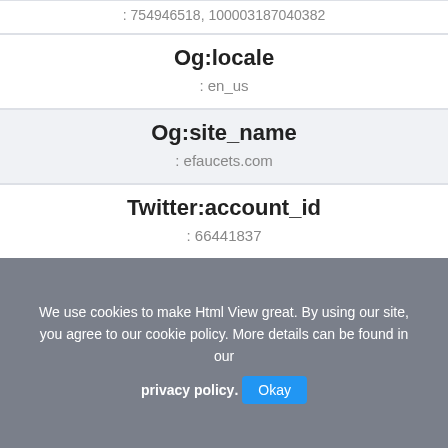: 754946518, 100003187040382
Og:locale
: en_us
Og:site_name
: efaucets.com
Twitter:account_id
: 66441837
Twitter:site
: @efaucets
Twitter:domain
: efaucets.com
We use cookies to make Html View great. By using our site, you agree to our cookie policy. More details can be found in our privacy policy. Okay